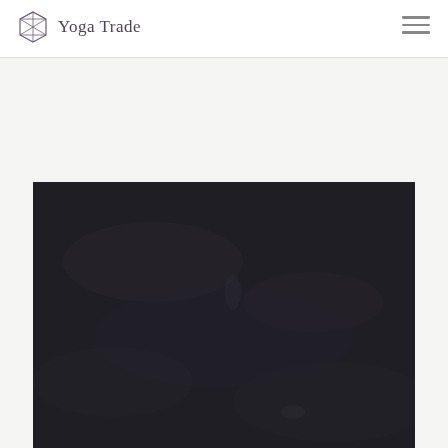Yoga Trade
[Figure (photo): Dark atmospheric photo, nearly black with very subtle textures suggesting a landscape or water scene with dim light.]